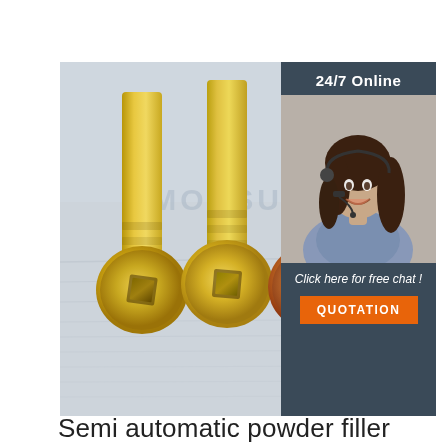[Figure (photo): Three brass/zinc-plated screws viewed from the head end showing square drive recesses, arranged side by side with shafts pointing upward, with MONSUN watermark overlay. Adjacent sidebar shows a woman with headset and '24/7 Online', 'Click here for free chat!', and 'QUOTATION' button.]
Semi automatic powder filler